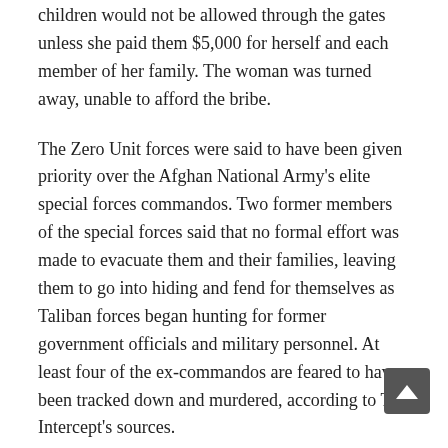children would not be allowed through the gates unless she paid them $5,000 for herself and each member of her family. The woman was turned away, unable to afford the bribe.
The Zero Unit forces were said to have been given priority over the Afghan National Army's elite special forces commandos. Two former members of the special forces said that no formal effort was made to evacuate them and their families, leaving them to go into hiding and fend for themselves as Taliban forces began hunting for former government officials and military personnel. At least four of the ex-commandos are feared to have been tracked down and murdered, according to The Intercept's sources.
The CIA is thought to have significant influence in the evacuation of Kabul, with a report in the Washington Post last week estimating that up to 20,000 Afghans who collaborated with the agency and members of the family made it aboard evacuation flights – constituting nearly one third of the 60,000 or so Afghans that the United States took in overall.
Trail of Bloodshed and T—